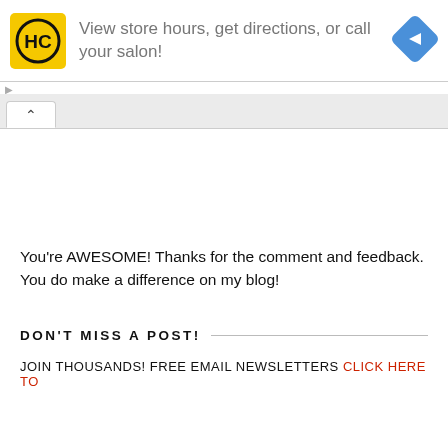[Figure (infographic): Ad banner: HC logo (yellow square with HC in circle), text 'View store hours, get directions, or call your salon!', blue diamond arrow icon on right]
[Figure (screenshot): Tab UI element with upward chevron (^) and a tab shape]
You're AWESOME! Thanks for the comment and feedback. You do make a difference on my blog!
DON'T MISS A POST!
JOIN THOUSANDS! FREE EMAIL NEWSLETTERS Click here to